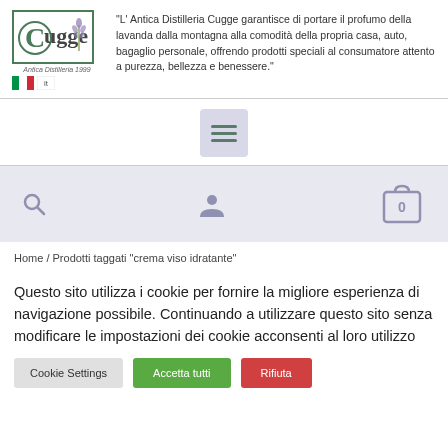[Figure (logo): Cugge Antica Distilleria logo with green C in circle, lavender sprig, Italian flag]
"L' Antica Distilleria Cugge garantisce di portare il profumo della lavanda dalla montagna alla comodità della propria casa, auto, bagaglio personale, offrendo prodotti speciali al consumatore attento a purezza, bellezza e benessere."
[Figure (other): Hamburger menu button icon (three horizontal lines) in a light grey/lavender square]
[Figure (other): Toolbar with search icon (magnifying glass), user account icon (person silhouette), and shopping cart icon showing 0 items]
Home / Prodotti taggati "crema viso idratante"
Questo sito utilizza i cookie per fornire la migliore esperienza di navigazione possibile. Continuando a utilizzare questo sito senza modificare le impostazioni dei cookie acconsenti al loro utilizzo
Cookie Settings
Accetta tutti
Rifiuta